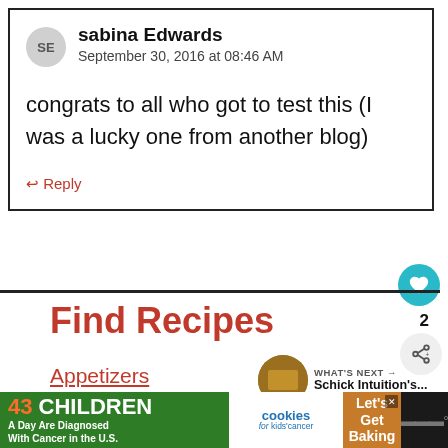sabina Edwards
September 30, 2016 at 08:46 AM
congrats to all who got to test this (I was a lucky one from another blog)
↩ Reply
Find Recipes
Appetizers
Drinks
[Figure (screenshot): Advertisement banner: 43 Children A Day Are Diagnosed With Cancer in the U.S. / cookies for kids cancer / Let's Get Baking]
WHAT'S NEXT → Schick Intuition's...